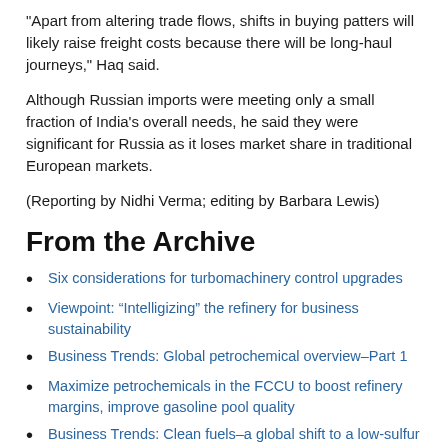"Apart from altering trade flows, shifts in buying patters will likely raise freight costs because there will be long-haul journeys," Haq said.
Although Russian imports were meeting only a small fraction of India's overall needs, he said they were significant for Russia as it loses market share in traditional European markets.
(Reporting by Nidhi Verma; editing by Barbara Lewis)
From the Archive
Six considerations for turbomachinery control upgrades
Viewpoint: “Intelligizing” the refinery for business sustainability
Business Trends: Global petrochemical overview–Part 1
Maximize petrochemicals in the FCCU to boost refinery margins, improve gasoline pool quality
Business Trends: Clean fuels–a global shift to a low-sulfur world